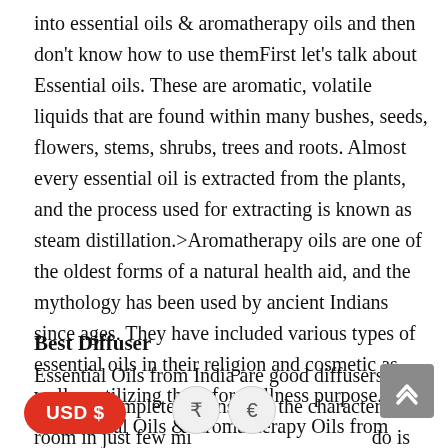into essential oils & aromatherapy oils and then don't know how to use themFirst let's talk about Essential oils. These are aromatic, volatile liquids that are found within many bushes, seeds, flowers, stems, shrubs, trees and roots. Almost every essential oil is extracted from the plants, and the process used for extracting is known as steam distillation.>Aromatherapy oils are one of the oldest forms of a natural health aid, and the mythology has been used by ancient Indians since ages. They have included various types of essential oils in their religion and cosmetic as well as utilizing them for wellness purpose. Use of Essential Oils & Aromatherapy Oils from India
Best Diffuser
Essential Oils from India are good diffusers; yes you can completely transform the character of a room in just few minutes. All you need to do is just add few drops of your favourite oil into one of the diffuserAromatherapy